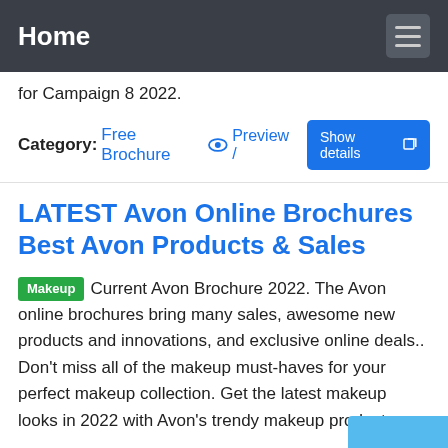Home
for Campaign 8 2022.
Category: Free Brochure   Preview /  Show details
LATEST Avon Online Brochures Best Avon Products & Sales
Makeup Current Avon Brochure 2022. The Avon online brochures bring many sales, awesome new products and innovations, and exclusive online deals.. Don't miss all of the makeup must-haves for your perfect makeup collection. Get the latest makeup looks in 2022 with Avon's trendy makeup products.
Category: It   Preview /  Show details